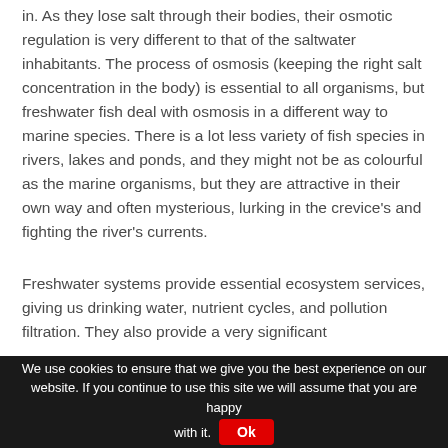in. As they lose salt through their bodies, their osmotic regulation is very different to that of the saltwater inhabitants. The process of osmosis (keeping the right salt concentration in the body) is essential to all organisms, but freshwater fish deal with osmosis in a different way to marine species. There is a lot less variety of fish species in rivers, lakes and ponds, and they might not be as colourful as the marine organisms, but they are attractive in their own way and often mysterious, lurking in the crevice's and fighting the river's currents.
Freshwater systems provide essential ecosystem services, giving us drinking water, nutrient cycles, and pollution filtration. They also provide a very significant
We use cookies to ensure that we give you the best experience on our website. If you continue to use this site we will assume that you are happy with it. Ok